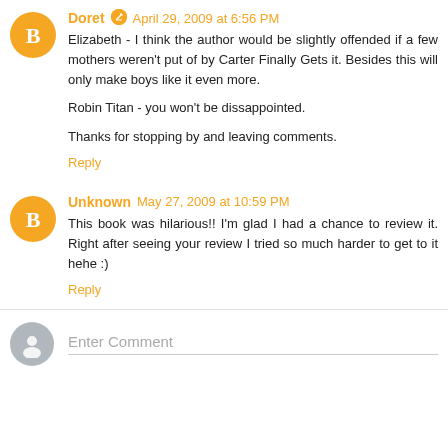Doret  April 29, 2009 at 6:56 PM
Elizabeth - I think the author would be slightly offended if a few mothers weren't put of by Carter Finally Gets it. Besides this will only make boys like it even more.

Robin Titan - you won't be dissappointed.

Thanks for stopping by and leaving comments.
Reply
Unknown  May 27, 2009 at 10:59 PM
This book was hilarious!! I'm glad I had a chance to review it. Right after seeing your review I tried so much harder to get to it hehe :)
Reply
Enter Comment